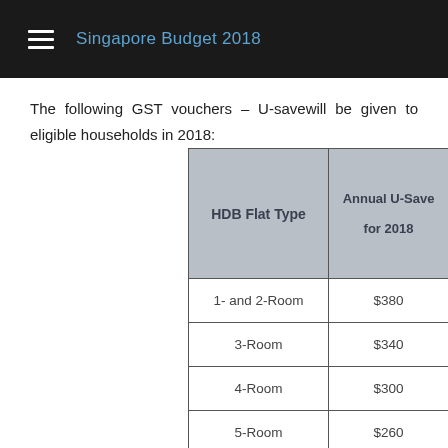Singapore Budget 2018
The following GST vouchers – U-savewill be given to eligible households in 2018:
| HDB Flat Type | Annual U-Save for 2018 | Annual U-Save from ... (a... in... |
| --- | --- | --- |
| 1- and 2-Room | $380 |  |
| 3-Room | $340 |  |
| 4-Room | $300 |  |
| 5-Room | $260 |  |
| Executive / Multi- |  |  |